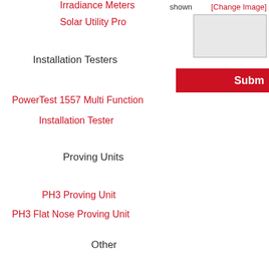Irradiance Meters
Solar Utility Pro
Installation Testers
PowerTest 1557 Multi Function
Installation Tester
Proving Units
PH3 Proving Unit
PH3 Flat Nose Proving Unit
Other
HV Indicators
HV Phasing Units
SDR Series HV Safe Discharge
shown
[Change Image]